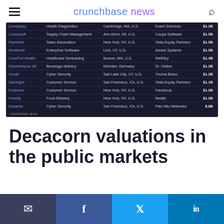crunchbase news
| Company | Category | Location | Acquirer | Value |
| --- | --- | --- | --- | --- |
| (Prev. company) | Health Diagnostics | Cambridge, MA, U.S. | Exact Sciences | $1.2B |
| LLamasoft | Supply Chain Management | Ann Arbor, MI, U.S. | Coupa Software | $1.5B |
| Pipedrive | Sales Automation | New York, NY, U.S. | Vista Equity Partners | $1.5B |
| Workfront | Enterprise Software | Lehi, UT, U.S. | Adobe Systems | $1.5B |
| CarePort Health | Healthcare Scheduling | Boston, MA, U.S. | WellSky | $1.4B |
| Flaschenpost SE | Beverage delivery | Münster, Germany | Dr. Oetker | $1.2B |
| Vonafi | Cyber Security | Salt Lake City, UT, U.S. | Thoma Bravo | $1.2B |
| Gainsight | Customer Service | San Francisco, CA, U.S. | Vista Equity Partners | $1.1B |
| Kustomer | Customer Service | New York, NY, U.S. | Facebook | $1.0B |
| Freshly | Food Delivery | New York, NY, U.S. | Nestlé | $1.0B |
| Expanse | Cyber Security | San Francisco, CA, U.S. | Palo Alto Networks | $.8B |
Decacorn valuations in the public markets
email  facebook  twitter  linkedin